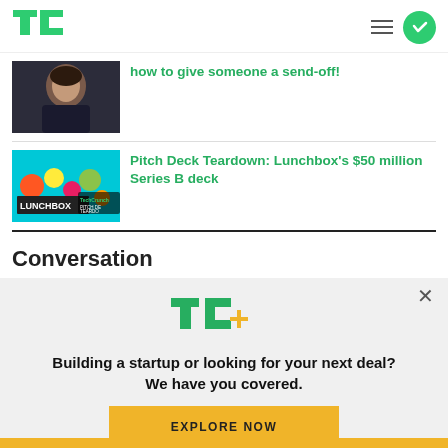TechCrunch
how to give someone a send-off!
[Figure (photo): Thumbnail photo of a woman]
Pitch Deck Teardown: Lunchbox's $50 million Series B deck
[Figure (photo): Thumbnail image with LUNCHBOX branding and TechCrunch Pitch Deck Teardown logo]
Conversation
[Figure (infographic): TC+ promotional popup with logo, tagline, and Explore Now button]
Building a startup or looking for your next deal? We have you covered.